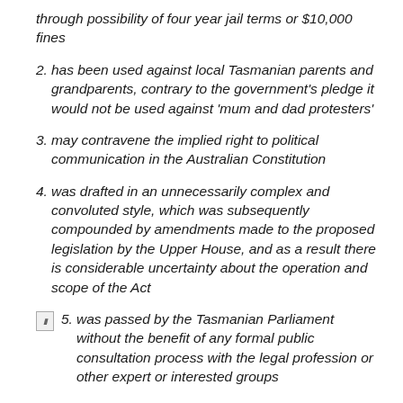through possibility of four year jail terms or $10,000 fines
2. has been used against local Tasmanian parents and grandparents, contrary to the government's pledge it would not be used against 'mum and dad protesters'
3. may contravene the implied right to political communication in the Australian Constitution
4. was drafted in an unnecessarily complex and convoluted style, which was subsequently compounded by amendments made to the proposed legislation by the Upper House, and as a result there is considerable uncertainty about the operation and scope of the Act
5. was passed by the Tasmanian Parliament without the benefit of any formal public consultation process with the legal profession or other expert or interested groups